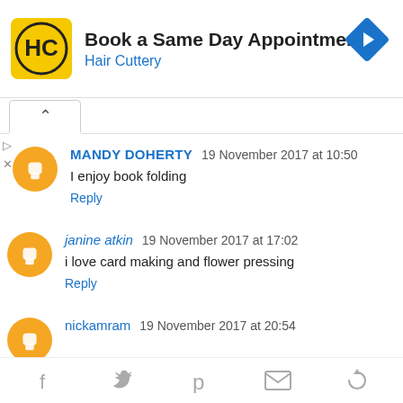[Figure (screenshot): Hair Cuttery advertisement banner with logo, title 'Book a Same Day Appointment', subtitle 'Hair Cuttery', and a blue navigation arrow icon on the right.]
MANDY DOHERTY  19 November 2017 at 10:50
I enjoy book folding
Reply
janine atkin  19 November 2017 at 17:02
i love card making and flower pressing
Reply
nickamram  19 November 2017 at 20:54
[Figure (screenshot): Social sharing bar at the bottom with icons for Facebook, Twitter, Pinterest, email, and share/refresh.]